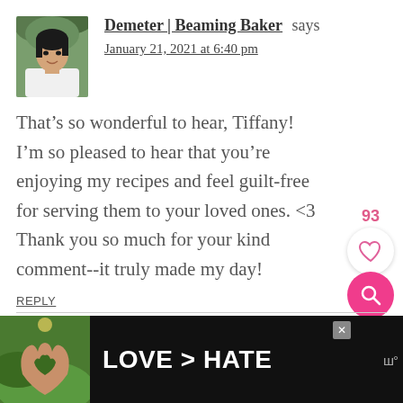[Figure (photo): Avatar photo of Demeter, a woman with dark hair, smiling, outdoors background]
Demeter | Beaming Baker says
January 21, 2021 at 6:40 pm
That’s so wonderful to hear, Tiffany! I’m so pleased to hear that you’re enjoying my recipes and feel guilt-free for serving them to your loved ones. <3 Thank you so much for your kind comment--it truly made my day!
REPLY
[Figure (screenshot): Like/heart button widget showing 93 likes and a pink search button]
[Figure (photo): Advertisement banner: hands forming a heart shape with text LOVE > HATE on dark background]